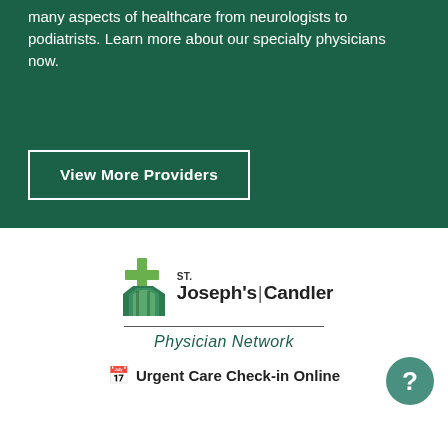many aspects of healthcare from neurologists to podiatrists. Learn more about our specialty physicians now.
View More Providers
[Figure (logo): St. Joseph's/Candler Physician Network logo with green graphic icon and text]
Physician Network
Urgent Care Check-in Online